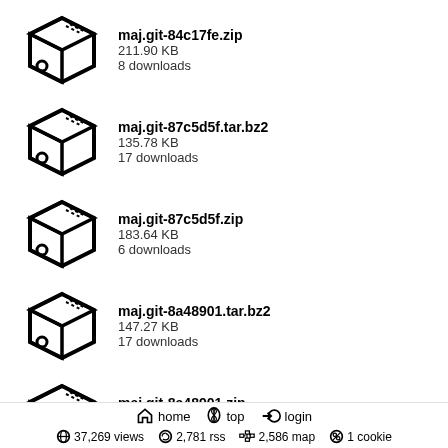maj.git-84c17fe.zip
211.90 KB
8 downloads
maj.git-87c5d5f.tar.bz2
135.78 KB
17 downloads
maj.git-87c5d5f.zip
183.64 KB
6 downloads
maj.git-8a48901.tar.bz2
147.27 KB
17 downloads
maj.git-8a48901.zip
201.06 KB
7 downloads
maj.git-8ad9892.tar.bz2
154.04 KB
17 downloads
home  top  login
37,269 views  2,781 rss  2,586 map  1 cookie